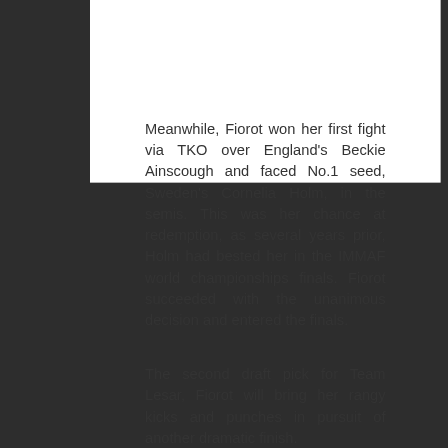Meanwhile, Fiorot won her first fight via TKO over England's Beckie Ainscough and faced No.1 seed, Sweden's Cornelia Holm, in the semis. This was her chance at redemption, as several years prior, Holm had bested her in the IMMAF world championships finals. Fiorot succeeded with the unanimous decision and entered the finals.
The second draft pick for Team Lesar, Fiorot will bring her rangy kicks and punches in pursuit of another dramatic finish.
She will be arriving in Johannesburg, South Africa on Wednesday 26 June.
Geugjes and Fiorot will meet up on Wednesday evening on Sport @10.  Tensions will be high as the two finalists will face-off for the first time since their semi-final wins. They will be